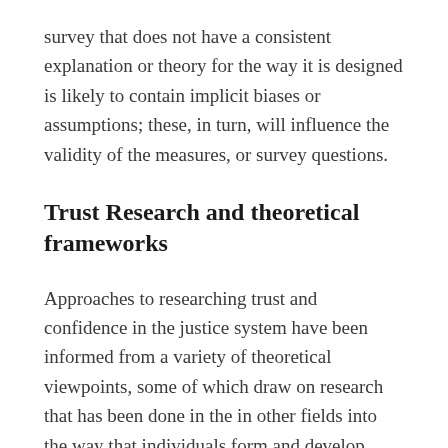survey that does not have a consistent explanation or theory for the way it is designed is likely to contain implicit biases or assumptions; these, in turn, will influence the validity of the measures, or survey questions.
Trust Research and theoretical frameworks
Approaches to researching trust and confidence in the justice system have been informed from a variety of theoretical viewpoints, some of which draw on research that has been done in the in other fields into the way that individuals form and develop trust. For example, recent research directed to individual and interpersonal trust in police-suspect interviews has